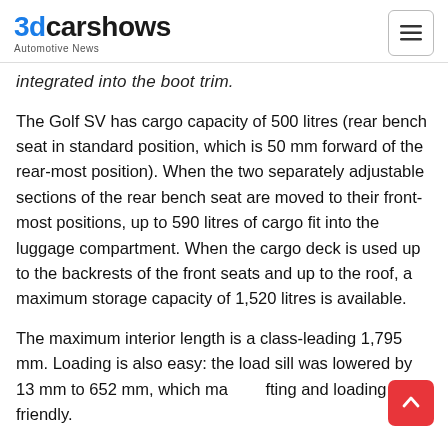3dcarshows — Automotive News
integrated into the boot trim.
The Golf SV has cargo capacity of 500 litres (rear bench seat in standard position, which is 50 mm forward of the rear-most position). When the two separately adjustable sections of the rear bench seat are moved to their front-most positions, up to 590 litres of cargo fit into the luggage compartment. When the cargo deck is used up to the backrests of the front seats and up to the roof, a maximum storage capacity of 1,520 litres is available.
The maximum interior length is a class-leading 1,795 mm. Loading is also easy: the load sill was lowered by 13 mm to 652 mm, which makes lifting and loading back-friendly.